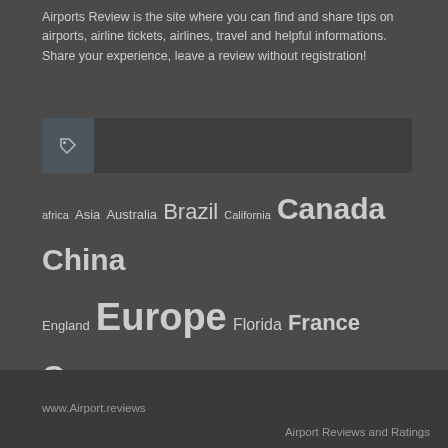Airports Review is the site where you can find and share tips on airports, airline tickets, airlines, travel and helpful informations. Share your experience, leave a review without registration!
[Figure (other): Tag icon in a dark box with a bar to the right]
africa Asia Australia Brazil California Canada China England Europe Florida France Germany Greece India Ireland Italy Malaysia Mexico North America Norway Philippines Russia South America Spain Sweden thailand thailand hotels Turkey United Kingdom United States
www.Airport.reviews Airport Reviews and Ratings